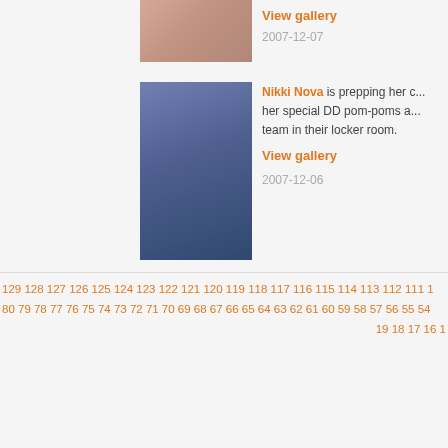[Figure (photo): Cropped thumbnail photo at top of page]
View gallery
2007-12-07
[Figure (photo): Photo of Nikki Nova in cheerleader outfit in locker room]
Nikki Nova is prepping her d... her special DD pom-poms a... team in their locker room.
View gallery
2007-12-06
129 128 127 126 125 124 123 122 121 120 119 118 117 116 115 114 113 112 111 1 80 79 78 77 76 75 74 73 72 71 70 69 68 67 66 65 64 63 62 61 60 59 58 57 56 55 54 19 18 17 16 1